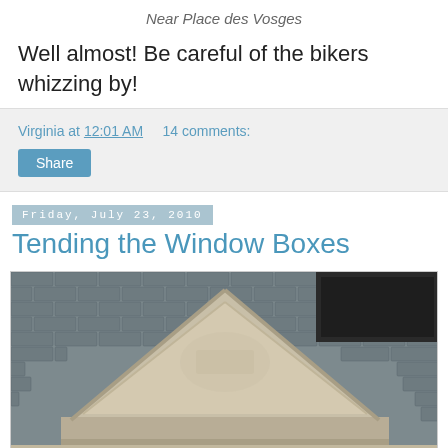Near Place des Vosges
Well almost! Be careful of the bikers whizzing by!
Virginia at 12:01 AM    14 comments:
Share
Friday, July 23, 2010
Tending the Window Boxes
[Figure (photo): Photograph of a Parisian building facade showing a triangular stone pediment/dormer window on a slate roof, with ornate classical architectural details.]